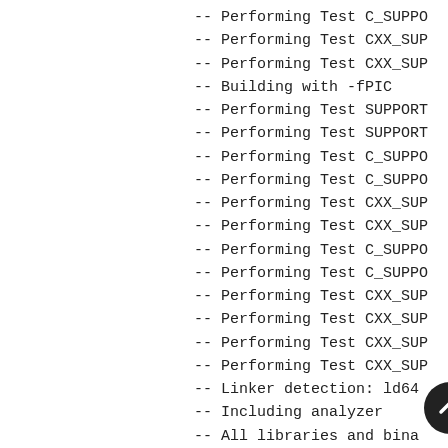-- Performing Test C_SUPPO
-- Performing Test CXX_SUP
-- Performing Test CXX_SUP
-- Building with -fPIC
-- Performing Test SUPPORT
-- Performing Test SUPPORT
-- Performing Test C_SUPPO
-- Performing Test C_SUPPO
-- Performing Test CXX_SUP
-- Performing Test CXX_SUP
-- Performing Test C_SUPPO
-- Performing Test C_SUPPO
-- Performing Test CXX_SUP
-- Performing Test CXX_SUP
-- Performing Test CXX_SUP
-- Performing Test CXX_SUP
-- Linker detection: ld64
-- Including analyzer
-- All libraries and bina
-- Found Boost: /usr/local
-- Found the following Boo
--   filesystem
--   system